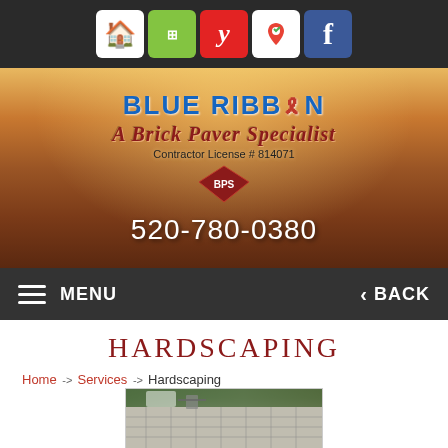[Figure (screenshot): Social media icon bar with Houzz, similar platform, Yelp, Google Maps, and Facebook icons on dark background]
[Figure (screenshot): Hero banner with desert/Monument Valley background showing Blue Ribbon A Brick Paver Specialist logo, Contractor License #814071, BPS diamond logo, and phone number 520-780-0380]
MENU   BACK
HARDSCAPING
Home -> Services -> Hardscaping
[Figure (photo): Outdoor paver patio with pool area, seating furniture, and landscaping]